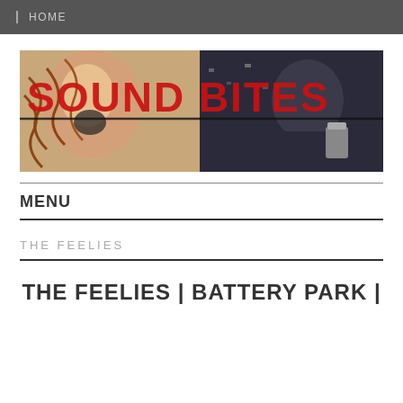HOME
[Figure (illustration): Sound Bites blog banner image showing people at a chaotic event with bold red text 'SOUND BITES' overlaid]
MENU
THE FEELIES
THE FEELIES | BATTERY PARK |